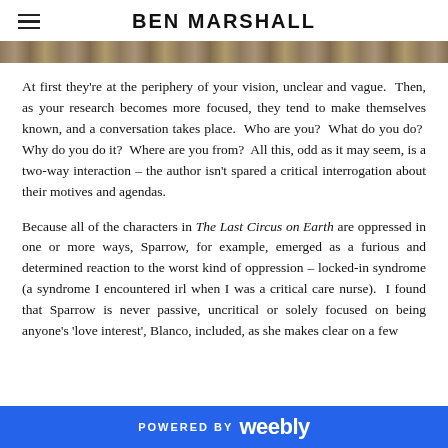BEN MARSHALL
[Figure (photo): A cropped image strip showing an outdoor scene with brown/golden tones, likely foliage or earth.]
At first they’re at the periphery of your vision, unclear and vague.  Then, as your research becomes more focused, they tend to make themselves known, and a conversation takes place.  Who are you?  What do you do?  Why do you do it?  Where are you from?  All this, odd as it may seem, is a two-way interaction – the author isn’t spared a critical interrogation about their motives and agendas.
Because all of the characters in The Last Circus on Earth are oppressed in one or more ways, Sparrow, for example, emerged as a furious and determined reaction to the worst kind of oppression – locked-in syndrome (a syndrome I encountered irl when I was a critical care nurse).  I found that Sparrow is never passive, uncritical or solely focused on being anyone’s ‘love interest’, Blanco, included, as she makes clear on a few
POWERED BY weebly